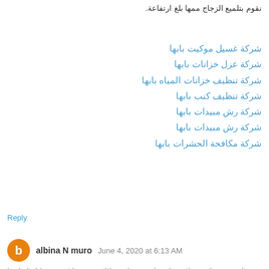نقوم بتلميع الزجاج ممها بلغ ارتفاعة.
شركة غسيل موكيت بابها
شركة عزل خزانات بابها
شركة تنظيف خزانات المياه بابها
شركة تنظيف كنب بابها
شركة رش مبيدات بابها
شركة رش مبيدات بابها
شركة مكافحة الحشرات بابها
Reply
albina N muro   June 4, 2020 at 6:13 AM
I admit, I have not been on this web page in a long time... however it was another joy to see It is such an important topic and ignored by so many, even professionals. professionals. I thank you to help making people more aware of possible issues. instagram likes buy uk
Reply